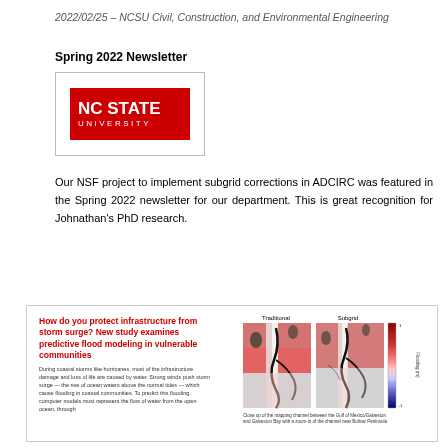2022/02/25 – NCSU Civil, Construction, and Environmental Engineering
Spring 2022 Newsletter
[Figure (logo): NC State University logo — red rectangle with white text 'NC STATE UNIVERSITY']
Our NSF project to implement subgrid corrections in ADCIRC was featured in the Spring 2022 newsletter for our department. This is great recognition for Johnathan's PhD research.
[Figure (infographic): Newsletter clipping showing article title 'How do you protect infrastructure from storm surge? New study examines predictive flood modeling in vulnerable communities' with red headline text, small body text, and side-by-side flood model comparison maps labeled 'Traditional' and 'Subgrid' with a color scale bar. Caption beneath the maps reads: 'Close up of the mapping channel between the Gulf of Mexico/Galveston...']